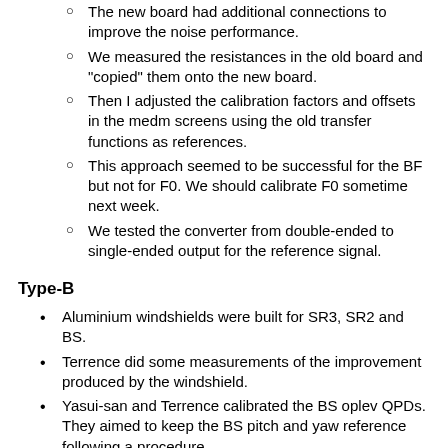The new board had additional connections to improve the noise performance.
We measured the resistances in the old board and "copied" them onto the new board.
Then I adjusted the calibration factors and offsets in the medm screens using the old transfer functions as references.
This approach seemed to be successful for the BF but not for F0. We should calibrate F0 sometime next week.
We tested the converter from double-ended to single-ended output for the reference signal.
Type-B
Aluminium windshields were built for SR3, SR2 and BS.
Terrence did some measurements of the improvement produced by the windshield.
Yasui-san and Terrence calibrated the BS oplev QPDs. They aimed to keep the BS pitch and yaw reference following a procedure.
Type-Bp